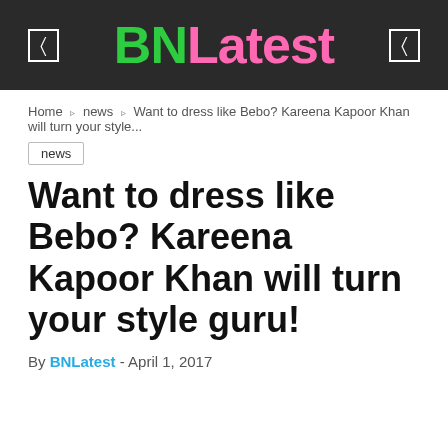BNLatest
Home » news » Want to dress like Bebo? Kareena Kapoor Khan will turn your style...
news
Want to dress like Bebo? Kareena Kapoor Khan will turn your style guru!
By BNLatest - April 1, 2017